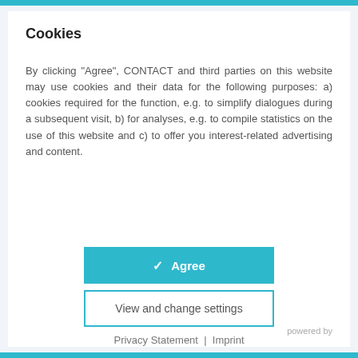Cookies
By clicking "Agree", CONTACT and third parties on this website may use cookies and their data for the following purposes: a) cookies required for the function, e.g. to simplify dialogues during a subsequent visit, b) for analyses, e.g. to compile statistics on the use of this website and c) to offer you interest-related advertising and content.
✔  Agree
View and change settings
Privacy Statement  |  Imprint
powered by